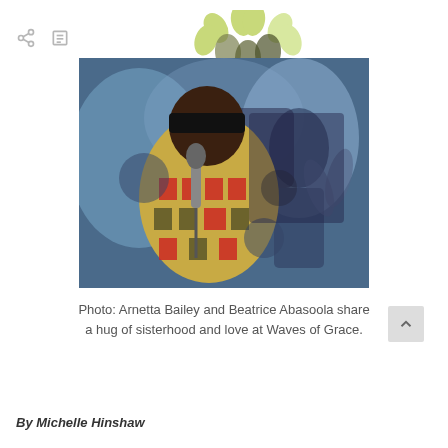[Figure (logo): Decorative logo made of leaf and petal shapes in yellow-green and olive tones, arranged in a flower/clover pattern]
[Figure (photo): A woman wearing a colorful African-print dress holding a microphone, singing on stage. A background figure with raised hands is visible behind her.]
Photo: Arnetta Bailey and Beatrice Abasoola share a hug of sisterhood and love at Waves of Grace.
By Michelle Hinshaw